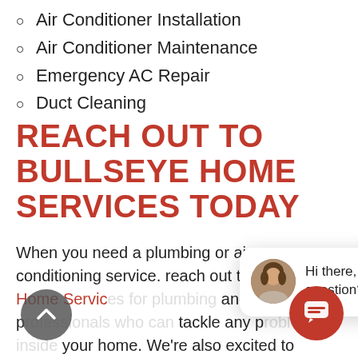Air Conditioner Installation
Air Conditioner Maintenance
Emergency AC Repair
Duct Cleaning
REACH OUT TO BULLSEYE HOME SERVICES TODAY
When you need a plumbing or air conditioning service. reach out to Bullseye Home Services [partial — overlaid by chat popup] and HVAC p[...] tackle any p[...] your home. We're also excited to provide outstanding customer service to homeowners in several surrounding to[wns] including:
[Figure (screenshot): Chat popup overlay with a 'close' button, avatar photo of a woman, and text: 'Hi there, have a question? Text us here.' Also shows a back-to-top arrow button (lower left) and a red chat icon button (lower right).]